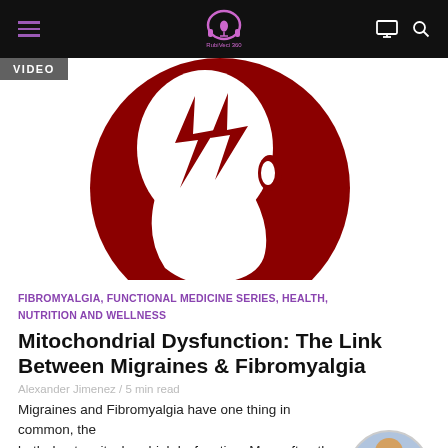RubiVeci 360 — navigation bar with logo, hamburger menu, monitor icon, search icon
[Figure (illustration): A dark red circular head silhouette with a white profile of a human head inside, and two red lightning bolt shapes in the upper portion suggesting a migraine or headache. White background.]
VIDEO
FIBROMYALGIA, FUNCTIONAL MEDICINE SERIES, HEALTH, NUTRITION AND WELLNESS
Mitochondrial Dysfunction: The Link Between Migraines & Fibromyalgia
Alexander Jimenez  /  5 min read
Migraines and Fibromyalgia have one thing in common, they are both due to mitochondrial dysfunction. More often than not, you see those with